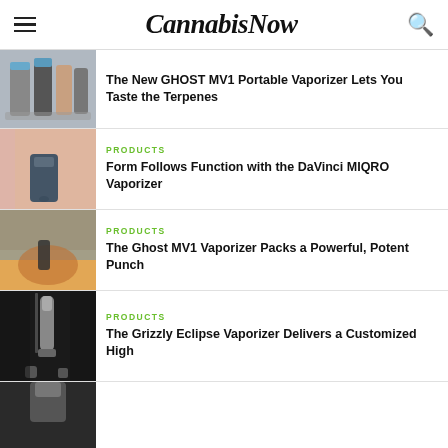CannabisNow
[Figure (photo): Multiple vaporizer devices arranged together, grey and metallic tones]
The New GHOST MV1 Portable Vaporizer Lets You Taste the Terpenes
[Figure (photo): Hands holding a small rectangular vaporizer device against colorful background]
PRODUCTS
Form Follows Function with the DaVinci MIQRO Vaporizer
[Figure (photo): Person using a vaporizer at beach/sunset scene]
PRODUCTS
The Ghost MV1 Vaporizer Packs a Powerful, Potent Punch
[Figure (photo): Dark moody photo of a vaporizer device with smoke]
PRODUCTS
The Grizzly Eclipse Vaporizer Delivers a Customized High
[Figure (photo): Partial view of another vaporizer product]